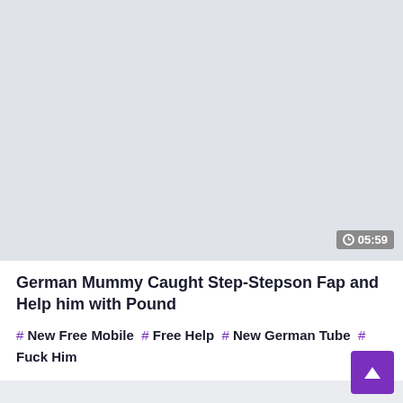[Figure (screenshot): Video thumbnail placeholder area with gray background]
German Mummy Caught Step-Stepson Fap and Help him with Pound
# New Free Mobile # Free Help # New German Tube # Fuck Him